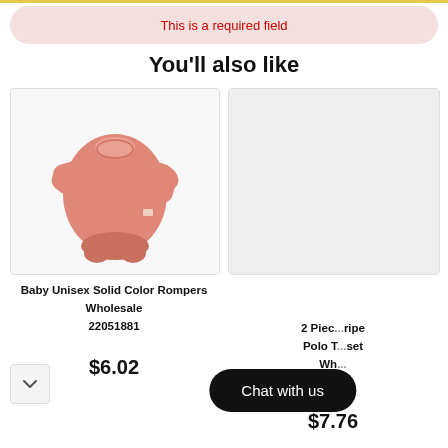This is a required field
You'll also like
[Figure (photo): Pink baby unisex solid color romper bodysuit on white background]
Baby Unisex Solid Color Rompers Wholesale 22051881
$6.02
[Figure (photo): Empty/placeholder product image box (light gray)]
2 Piece ... ripe Polo T... set Wh...
$7.76
Chat with us